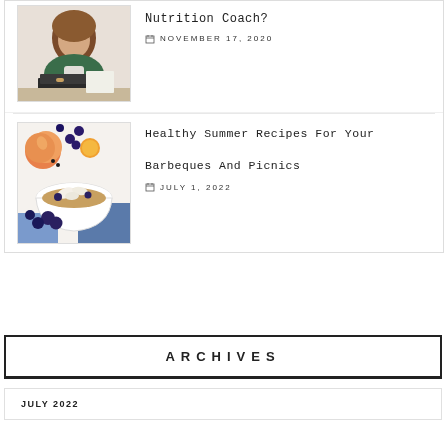[Figure (photo): Woman in green jacket sitting at desk with laptop, writing in notebook]
Nutrition Coach?
NOVEMBER 17, 2020
[Figure (photo): Overhead view of summer food including blueberries, peaches, and granola bowl]
Healthy Summer Recipes For Your Barbeques And Picnics
JULY 1, 2022
ARCHIVES
JULY 2022